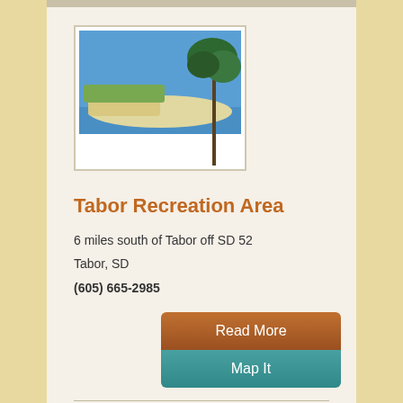[Figure (photo): Scenic view of cliffs and water with trees, Tabor Recreation Area]
Tabor Recreation Area
6 miles south of Tabor off SD 52
Tabor, SD
(605) 665-2985
Read More
Map It
Vermillion
[Figure (photo): Wooded park area with tall trees, Clay County Park]
Clay County Park